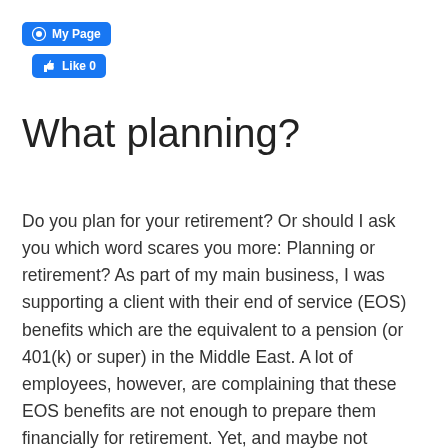[Figure (screenshot): Facebook 'My Page' button — blue rounded rectangle with circle-M icon and white text 'My Page']
[Figure (screenshot): Facebook 'Like 0' button — blue rounded rectangle with thumbs-up icon and white text 'Like 0']
What planning?
Do you plan for your retirement? Or should I ask you which word scares you more: Planning or retirement? As part of my main business, I was supporting a client with their end of service (EOS) benefits which are the equivalent to a pension (or 401(k) or super) in the Middle East. A lot of employees, however, are complaining that these EOS benefits are not enough to prepare them financially for retirement. Yet, and maybe not surprisingly, many people don't prepare more for their retirement. Why is it?